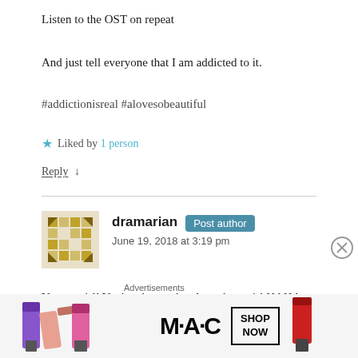Listen to the OST on repeat
And just tell everyone that I am addicted to it.
#addictionisreal #alovesobeautiful
★ Liked by 1 person
Reply ↓
dramarian  Post author
June 19, 2018 at 3:19 pm
You go girl! You're obsessed and you know it! HAHA. Thanks
[Figure (advertisement): MAC cosmetics advertisement showing lipsticks with SHOP NOW button]